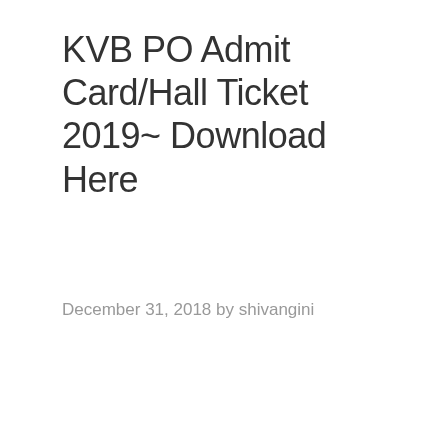KVB PO Admit Card/Hall Ticket 2019~ Download Here
December 31, 2018 by shivangini